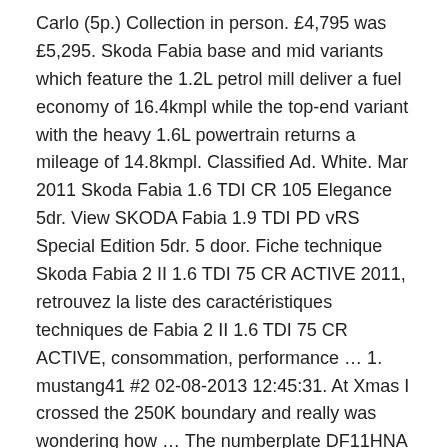Carlo (5p.) Collection in person. £4,795 was £5,295. Skoda Fabia base and mid variants which feature the 1.2L petrol mill deliver a fuel economy of 16.4kmpl while the top-end variant with the heavy 1.6L powertrain returns a mileage of 14.8kmpl. Classified Ad. White. Mar 2011 Skoda Fabia 1.6 TDI CR 105 Elegance 5dr. View SKODA Fabia 1.9 TDI PD vRS Special Edition 5dr. 5 door. Fiche technique Skoda Fabia 2 II 1.6 TDI 75 CR ACTIVE 2011, retrouvez la liste des caractéristiques techniques de Fabia 2 II 1.6 TDI 75 CR ACTIVE, consommation, performance … 1. mustang41 #2 02-08-2013 12:45:31. At Xmas I crossed the 250K boundary and really was wondering how … The numberplate DF11HNA was first registered near Chester. 2011 08/11/2011 et 148 400 km, couleur Rouge, intérieur Tissu darkgrey, Bon, avec les options suivantes: - INTERIEUR : Accoudoir avant, Volant en cuir. Exceptionally big boot. Hatchback. A petrol car runs about 10,000kms to 12,000kms every year, on an average. It is expected to have a mileage around 16-18 kmpl. Retrouvez les